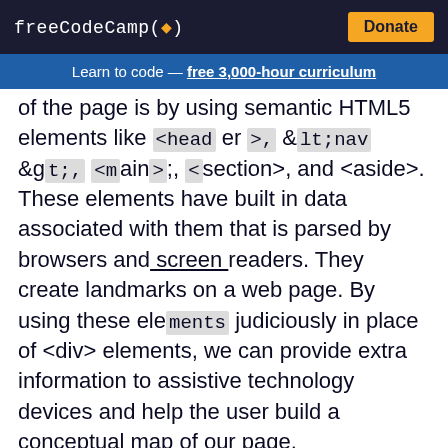freeCodeCamp(🔥)  Donate
Learn to code — free 3,000-hour curriculum
of the page is by using semantic HTML5 elements like <header>, &lt;nav&gt;, <main>;, <section>, and <aside>. These elements have built in data associated with them that is parsed by browsers and screen readers. They create landmarks on a web page. By using these elements judiciously in place of <div> elements, we can provide extra information to assistive technology devices and help the user build a conceptual map of our page.
I've maintained the same layout as before, but I've swapped some divs for some semantic